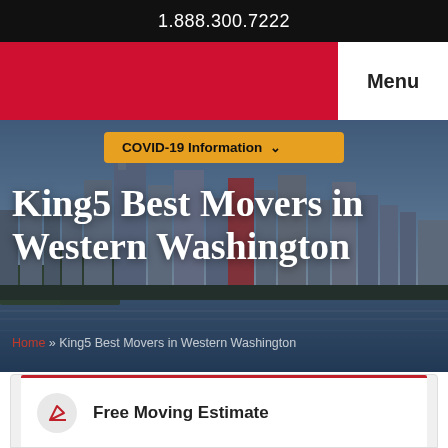1.888.300.7222
Menu
COVID-19 Information
King5 Best Movers in Western Washington
Home » King5 Best Movers in Western Washington
Free Moving Estimate